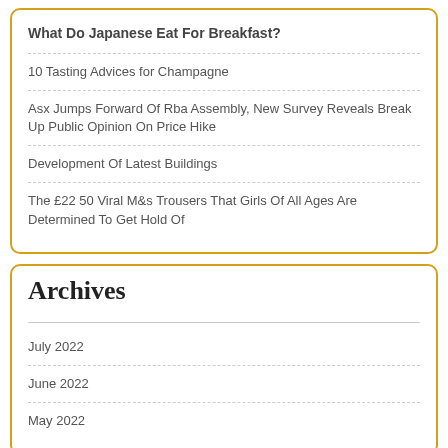What Do Japanese Eat For Breakfast?
10 Tasting Advices for Champagne
Asx Jumps Forward Of Rba Assembly, New Survey Reveals Break Up Public Opinion On Price Hike
Development Of Latest Buildings
The £22 50 Viral M&s Trousers That Girls Of All Ages Are Determined To Get Hold Of
Archives
July 2022
June 2022
May 2022